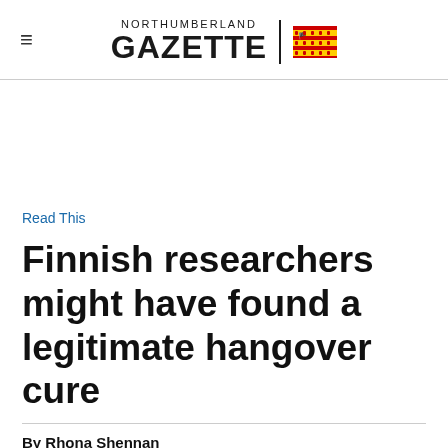NORTHUMBERLAND GAZETTE
Read This
Finnish researchers might have found a legitimate hangover cure
By Rhona Shennan